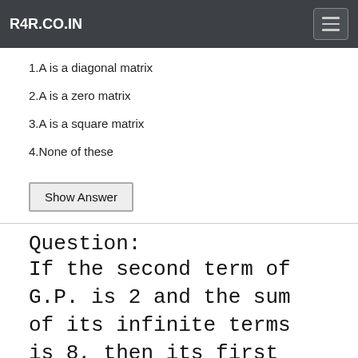R4R.CO.IN
1.A is a diagonal matrix
2.A is a zero matrix
3.A is a square matrix
4.None of these
Show Answer
Question:
If the second term of G.P. is 2 and the sum of its infinite terms is 8, then its first